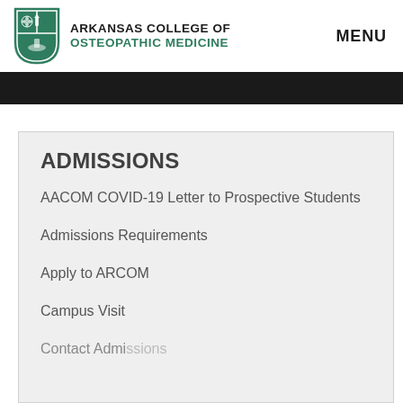[Figure (logo): Arkansas College of Osteopathic Medicine shield logo with green and white design]
Arkansas College of Osteopathic Medicine  MENU
ADMISSIONS
AACOM COVID-19 Letter to Prospective Students
Admissions Requirements
Apply to ARCOM
Campus Visit
Contact Admissions